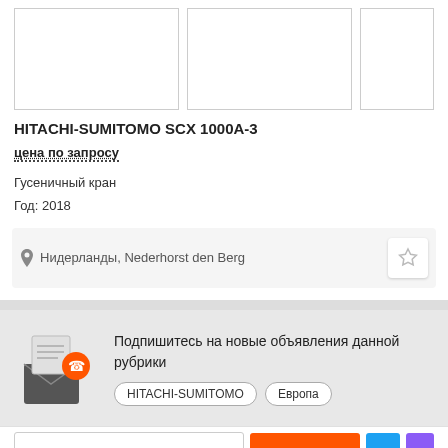[Figure (photo): Three image placeholders in a row showing product photos]
HITACHI-SUMITOMO SCX 1000A-3
цена по запросу
Гусеничный кран
Год: 2018
Нидерланды, Nederhorst den Berg
Подпишитесь на новые объявления данной рубрики
HITACHI-SUMITOMO
Европа